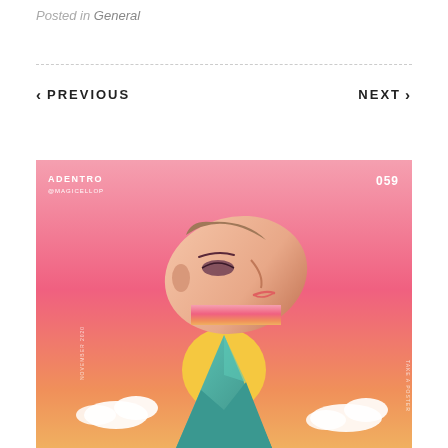Posted in General
< PREVIOUS
NEXT >
[Figure (illustration): Surrealist digital art collage titled 'ADENTRO 059' by @magicellop. A floating face in profile (side view) looking upward against a pink-to-orange gradient background. Below the face is a teal mountain peak with clouds, and a yellow sun/halo circle behind the mountain. Text 'ADENTRO @MAGICELLOP' in top left, '059' in top right.]